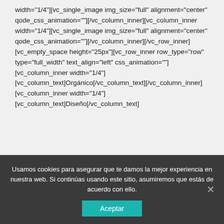width="1/4"][vc_single_image img_size="full" alignment="center" qode_css_animation=""][/vc_column_inner][vc_column_inner width="1/4"][vc_single_image img_size="full" alignment="center" qode_css_animation=""][/vc_column_inner][/vc_row_inner][vc_empty_space height="25px"][vc_row_inner row_type="row" type="full_width" text_align="left" css_animation=""][vc_column_inner width="1/4"][vc_column_text]Orgánico[/vc_column_text][/vc_column_inner][vc_column_inner width="1/4"][vc_column_text]Diseño[/vc_column_text]
Usamos cookies para asegurar que te damos la mejor experiencia en nuestra web. Si continúas usando este sitio, asumiremos que estás de acuerdo con ello.
Aceptar